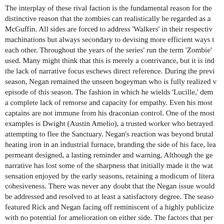The interplay of these rival faction is the fundamental reason for the distinctive reason that the zombies can realistically be regarded as a McGuffin. All sides are forced to address 'Walkers' in their respective machinations but always secondary to devising more efficient ways to each other. Throughout the years of the series' run the term 'Zombie' used. Many might think that this is merely a contrivance, but it is ind the lack of narrative focus eschews direct reference. During the previ season, Negan remained the unseen bogeyman who is fully realized v episode of this season. The fashion in which he wields 'Lucille,' dem a complete lack of remorse and capacity for empathy. Even his most captains are not immune from his draconian control. One of the most examples is Dwight (Austin Amelio), a trusted worker who betrayed attempting to flee the Sanctuary. Negan's reaction was beyond brutal heating iron in an industrial furnace, branding the side of his face, lea permeant designed, a lasting reminder and warning. Although the ge narrative has lost some of the sharpness that initially made it the wat sensation enjoyed by the early seasons, retaining a modicum of litera cohesiveness. There was never any doubt that the Negan issue would be addressed and resolved to at least a satisfactory degree. The seaso featured Rick and Negan facing off reminiscent of a highly publicize with no potential for amelioration on either side. The factors that per departure from the expected, familiar tropes resulted in a conclusion significantly softer than anticipated or warranted considering the rep actions accumulated by Negan. This was telegraphed when the write